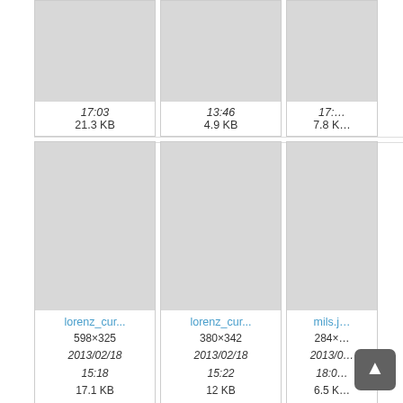[Figure (screenshot): File browser grid view showing image thumbnails with metadata. Top partial row shows three items with times 17:03/21.3KB, 13:46/4.9KB, 17:x/7.8K. Middle row shows lorenz_cur... (598x325, 2013/02/18 15:18, 17.1 KB), lorenz_cur... (380x342, 2013/02/18 15:22, 12 KB), mils.j... (284x, 2013/0 18:0, 6.5 K). Bottom partial row shows movement... (855x508), movement... (832x502), po...am... (1345x). Scroll-to-top button visible bottom right.]